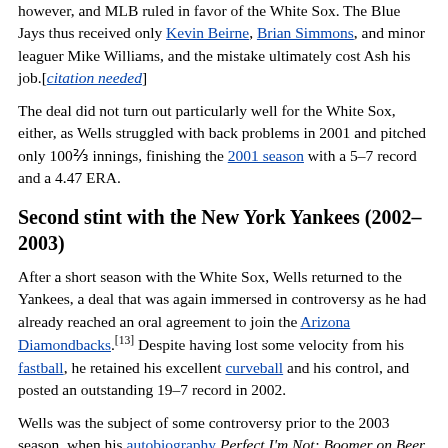however, and MLB ruled in favor of the White Sox. The Blue Jays thus received only Kevin Beirne, Brian Simmons, and minor leaguer Mike Williams, and the mistake ultimately cost Ash his job.[citation needed]
The deal did not turn out particularly well for the White Sox, either, as Wells struggled with back problems in 2001 and pitched only 100⅔ innings, finishing the 2001 season with a 5–7 record and a 4.47 ERA.
Second stint with the New York Yankees (2002–2003)
After a short season with the White Sox, Wells returned to the Yankees, a deal that was again immersed in controversy as he had already reached an oral agreement to join the Arizona Diamondbacks.[13] Despite having lost some velocity from his fastball, he retained his excellent curveball and his control, and posted an outstanding 19–7 record in 2002.
Wells was the subject of some controversy prior to the 2003 season, when his autobiography Perfect I'm Not: Boomer on Beer, Brawls, Backaches and Baseball, was published. The book upset the Yankees' management, and Wells was fined $100,000 by the team for disparaging comments which appeared in it.[14] One of them included himself having a hangover when he pitched his